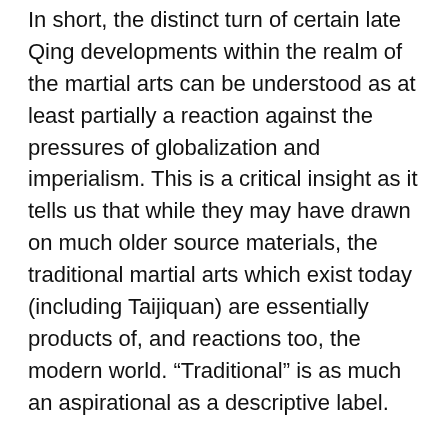In short, the distinct turn of certain late Qing developments within the realm of the martial arts can be understood as at least partially a reaction against the pressures of globalization and imperialism. This is a critical insight as it tells us that while they may have drawn on much older source materials, the traditional martial arts which exist today (including Taijiquan) are essentially products of, and reactions too, the modern world. “Traditional” is as much an aspirational as a descriptive label.
Wile’s research focuses on events at the end of the 19th century when China was coming under renewed imperialist pressure (meaning the seizing of territory and “spheres of influence”). Further, his research tends to focus on the intellectual history and substantive content of this new cultural synthesis.